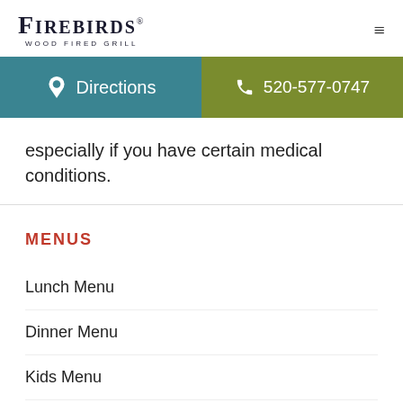FIREBIRDS WOOD FIRED GRILL
[Figure (infographic): Two-button action bar: left teal 'Directions' with pin icon, right olive-green '520-577-0747' with phone icon]
especially if you have certain medical conditions.
MENUS
Lunch Menu
Dinner Menu
Kids Menu